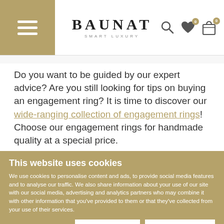[Figure (screenshot): BAUNAT Smart Luxury website header with hamburger menu, logo, search icon, heart icon with badge 0, and shopping bag icon with badge 0]
Do you want to be guided by our expert advice? Are you still looking for tips on buying an engagement ring? It is time to discover our wide-ranging collection of engagement rings! Choose our engagement rings for handmade quality at a special price.
This website uses cookies
We use cookies to personalise content and ads, to provide social media features and to analyse our traffic. We also share information about your use of our site with our social media, advertising and analytics partners who may combine it with other information that you’ve provided to them or that they’ve collected from your use of their services.
Allow selection | Allow all cookies
Necessary  Preferences  Statistics  Marketing  Show details